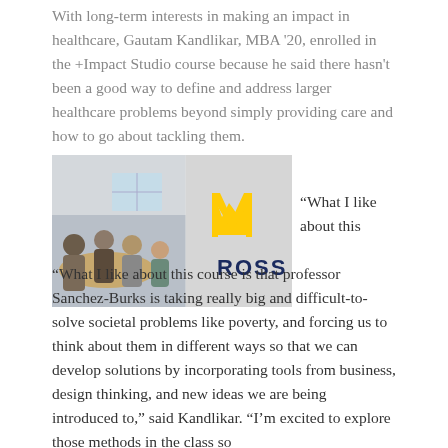With long-term interests in making an impact in healthcare, Gautam Kandlikar, MBA '20, enrolled in the +Impact Studio course because he said there hasn't been a good way to define and address larger healthcare problems beyond simply providing care and how to go about tackling them.
[Figure (photo): Two-panel image: left side shows students working around a table in a classroom setting; right side shows the Michigan Ross logo (block M in yellow/gold above the word ROSS in navy).]
"What I like about this course is that professor Sanchez-Burks is taking really big and difficult-to-solve societal problems like poverty, and forcing us to think about them in different ways so that we can develop solutions by incorporating tools from business, design thinking, and new ideas we are being introduced to," said Kandlikar. "I'm excited to explore those methods in the class so